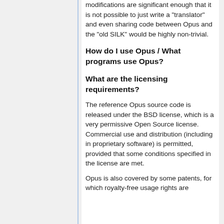modifications are significant enough that it is not possible to just write a "translator" and even sharing code between Opus and the "old SILK" would be highly non-trivial.
How do I use Opus / What programs use Opus?
What are the licensing requirements?
The reference Opus source code is released under the BSD license, which is a very permissive Open Source license. Commercial use and distribution (including in proprietary software) is permitted, provided that some conditions specified in the license are met.
Opus is also covered by some patents, for which royalty-free usage rights are